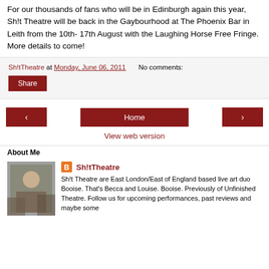For our thousands of fans who will be in Edinburgh again this year, Sh!t Theatre will be back in the Gaybourhood at The Phoenix Bar in Leith from the 10th- 17th August with the Laughing Horse Free Fringe. More details to come!
Sh!tTheatre at Monday, June 06, 2011   No comments:
Share
‹   Home   ›
View web version
About Me
Sh!tTheatre
Sh!t Theatre are East London/East of England based live art duo Booise. That's Becca and Louise. Booise. Previously of Unfinished Theatre. Follow us for upcoming performances, past reviews and maybe some